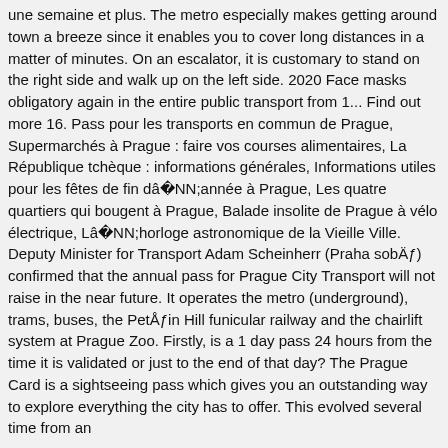une semaine et plus. The metro especially makes getting around town a breeze since it enables you to cover long distances in a matter of minutes. On an escalator, it is customary to stand on the right side and walk up on the left side. 2020 Face masks obligatory again in the entire public transport from 1... Find out more 16. Pass pour les transports en commun de Prague, Supermarchés à Prague : faire vos courses alimentaires, La République tchèque : informations générales, Informations utiles pour les fêtes de fin dââ¬année à Prague, Les quatre quartiers qui bougent à Prague, Balade insolite de Prague à vélo électrique, Lââ¬horloge astronomique de la Vieille Ville. Deputy Minister for Transport Adam Scheinherr (Praha sobÄ) confirmed that the annual pass for Prague City Transport will not raise in the near future. It operates the metro (underground), trams, buses, the PetÅin Hill funicular railway and the chairlift system at Prague Zoo. Firstly, is a 1 day pass 24 hours from the time it is validated or just to the end of that day? The Prague Card is a sightseeing pass which gives you an outstanding way to explore everything the city has to offer. This evolved several time from an